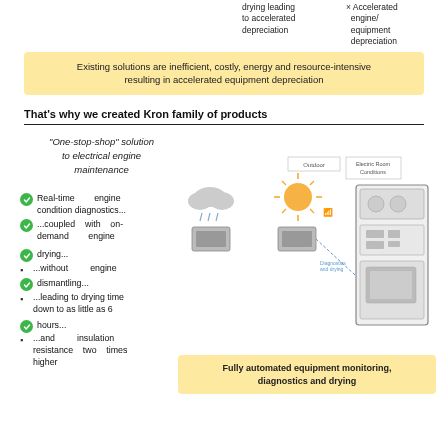drying leading to accelerated depreciation
× Accelerated engine/equipment depreciation
Existing solutions are inefficient, costly, energy and resource-intensive resulting in accelerated equipment depreciation
That's why we created Kron family of products
"One-stop-shop" solution to electrical engine maintenance
Real-time engine condition diagnostics...
...coupled with on-demand engine drying...
...without engine dismantling...
...leading to drying time down to as little as 6 hours...
...and insulation resistance two times higher
[Figure (engineering-diagram): Diagram showing outdoor conditions (rain cloud, sun) affecting electrical engines, connected to an Electric Room Conditions cabinet/control unit]
Fully automated equipment monitoring, diagnostics and drying